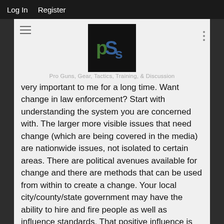Log In   Register
[Figure (logo): PSS logo — stylized letters P, S on black background with green and blue colors]
Pro Guns, Gear, Tactics, Training, & Discussion
very important to me for a long time. Want change in law enforcement? Start with understanding the system you are concerned with. The larger more visible issues that need change (which are being covered in the media) are nationwide issues, not isolated to certain areas. There are political avenues available for change and there are methods that can be used from within to create a change. Your local city/county/state government may have the ability to hire and fire people as well as influence standards. That positive influence is needed. Now let's discuss some concepts associated with what we need.
In most instances, easy methods are fast